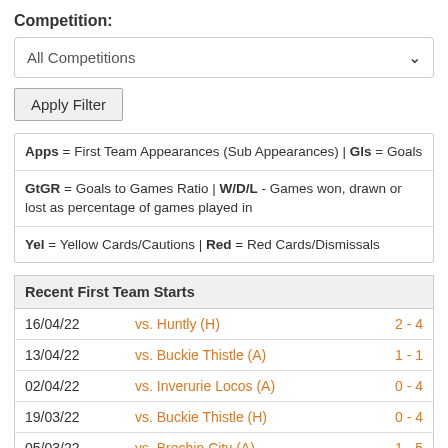Competition:
All Competitions
Apply Filter
Apps = First Team Appearances (Sub Appearances) | Gls = Goals
GtGR = Goals to Games Ratio | W/D/L - Games won, drawn or lost as percentage of games played in
Yel = Yellow Cards/Cautions | Red = Red Cards/Dismissals
| Recent First Team Starts |  |  |
| --- | --- | --- |
| 16/04/22 | vs. Huntly (H) | 2 - 4 |
| 13/04/22 | vs. Buckie Thistle (A) | 1 - 1 |
| 02/04/22 | vs. Inverurie Locos (A) | 0 - 4 |
| 19/03/22 | vs. Buckie Thistle (H) | 0 - 4 |
| 05/03/22 | vs. Brechin City (A) | 1 - 5 |